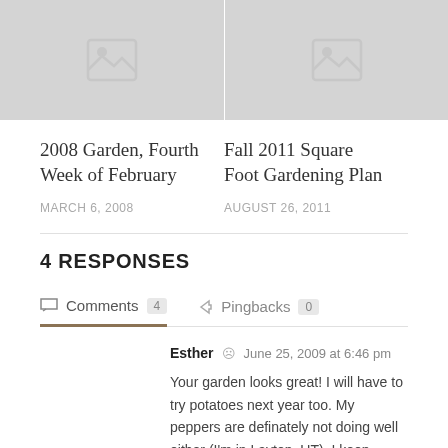[Figure (photo): Two placeholder thumbnail images side by side with grey background and image placeholder icon]
2008 Garden, Fourth Week of February
MARCH 6, 2008
Fall 2011 Square Foot Gardening Plan
AUGUST 26, 2011
4 RESPONSES
Comments 4   Pingbacks 0
Esther  June 25, 2009 at 6:46 pm
Your garden looks great! I will have to try potatoes next year too. My peppers are definately not doing well either (I'm in Layton, UT). I keep hoping they will start doing better but they pretty much look just like they did when I planted them over a